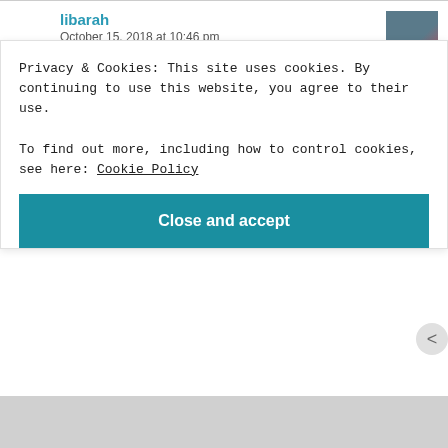libarah
October 15, 2018 at 10:46 pm
Yuppp 😍
★ Liked by 1 person
Reply
Privacy & Cookies: This site uses cookies. By continuing to use this website, you agree to their use.
To find out more, including how to control cookies, see here: Cookie Policy
Close and accept